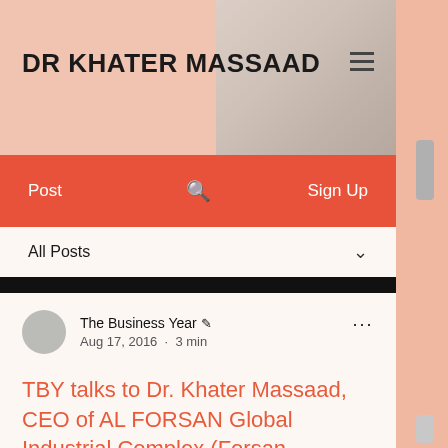DR KHATER MASSAAD
Post  🔍  Sign Up
All Posts
The Business Year ✒ Aug 17, 2016 · 3 min
TBY talks to Dr. Khater Massaad, CEO of AL FORSAN Global Industrial Complex (Forsan Ceramics)